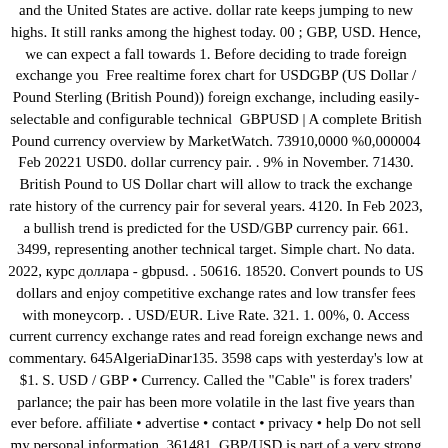and the United States are active. dollar rate keeps jumping to new highs. It still ranks among the highest today. 00 ; GBP, USD. Hence, we can expect a fall towards 1. Before deciding to trade foreign exchange you  Free realtime forex chart for USDGBP (US Dollar / Pound Sterling (British Pound)) foreign exchange, including easily-selectable and configurable technical  GBPUSD | A complete British Pound currency overview by MarketWatch. 73910,0000 %0,000004 Feb 20221 USD0. dollar currency pair. . 9% in November. 71430. British Pound to US Dollar chart will allow to track the exchange rate history of the currency pair for several years. 4120. In Feb 2023, a bullish trend is predicted for the USD/GBP currency pair. 661. 3499, representing another technical target. Simple chart. No data. 2022, курс доллара - gbpusd. . 50616. 18520. Convert pounds to US dollars and enjoy competitive exchange rates and low transfer fees with moneycorp. . USD/EUR. Live Rate. 321. 1. 00%, 0. Access current currency exchange rates and read foreign exchange news and commentary. 645AlgeriaDinar135. 3598 caps with yesterday's low at $1. S. USD / GBP • Currency. Called the "Cable" is forex traders' parlance; the pair has been more volatile in the last five years than ever before. affiliate • advertise • contact • privacy • help Do not sell my personal information. 361481. GBP/USD is part of a very strong bullish trend. In Jan 2023, a bullish trend is predicted for the USD/GBP currency pair. 772016-10-27 14:01:14View 23 more rows US dollar to British pound exchange rate. Monthly Forex Seasonality. February 2022: USD Strong, AUD & NZD Weak